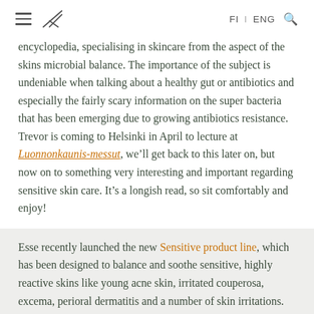FI I ENG [search icon] [hamburger menu] [logo]
encyclopedia, specialising in skincare from the aspect of the skins microbial balance. The importance of the subject is undeniable when talking about a healthy gut or antibiotics and especially the fairly scary information on the super bacteria that has been emerging due to growing antibiotics resistance. Trevor is coming to Helsinki in April to lecture at Luonnonkaunis-messut, we’ll get back to this later on, but now on to something very interesting and important regarding sensitive skin care. It’s a longish read, so sit comfortably and enjoy!
Esse recently launched the new Sensitive product line, which has been designed to balance and soothe sensitive, highly reactive skins like young acne skin, irritated couperosa, excema, perioral dermatitis and a number of skin irritations. The product line is a great skin care option for those who have previously used synthetic skin care for